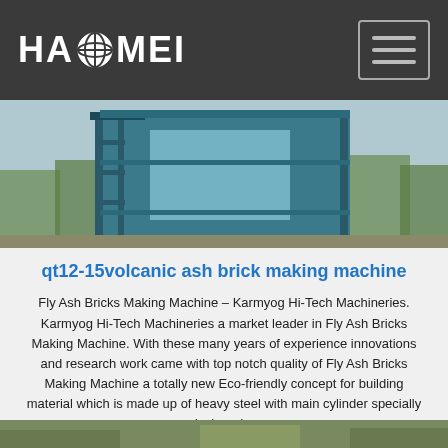[Figure (logo): HAOMEI logo with globe icon on dark grey header bar with hamburger menu button]
[Figure (photo): Industrial building with blue steel structure and scaffolding, trees visible in background]
qt12-15volcanic ash brick making machine
Fly Ash Bricks Making Machine – Karmyog Hi-Tech Machineries. Karmyog Hi-Tech Machineries a market leader in Fly Ash Bricks Making Machine. With these many years of experience innovations and research work came with top notch quality of Fly Ash Bricks Making Machine a totally new Eco-friendly concept for building material which is made up of heavy steel with main cylinder specially designed ...
[Figure (logo): TOP badge with dotted arc above the text TOP]
[Figure (photo): Bottom strip showing partial outdoor scene]